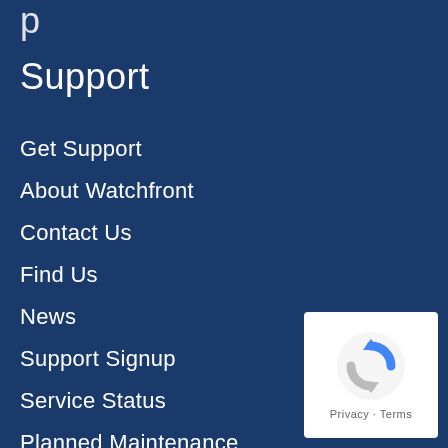Support
Support
Get Support
About Watchfront
Contact Us
Find Us
News
Support Signup
Service Status
Planned Maintenance
Diagnosing a Fault
Mail & DNS Details
[Figure (logo): reCAPTCHA badge with spinning arrow logo and Privacy · Terms text]